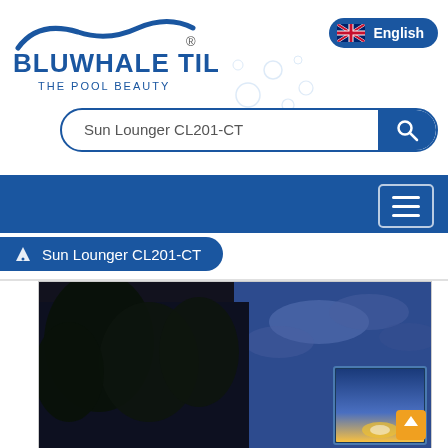[Figure (logo): Bluwhale Tile logo with wave graphic and text 'THE POOL BEAUTY']
[Figure (screenshot): English language selector button with UK flag]
[Figure (screenshot): Search bar with text 'Sun Lounger CL201-CT' and blue search button]
[Figure (screenshot): Dark blue navigation bar with hamburger menu button]
Sun Lounger CL201-CT
[Figure (photo): Product lifestyle photo showing outdoor pool area with trees in foreground against dramatic blue sky, with a partially visible product thumbnail in the bottom right corner]